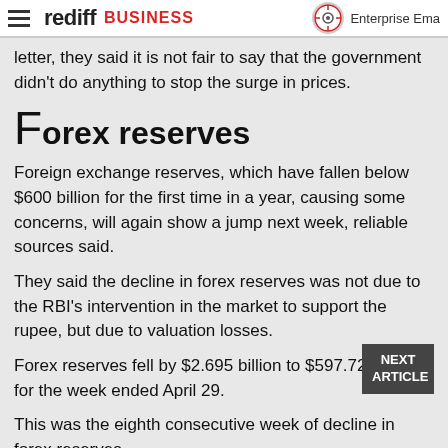rediff BUSINESS | Enterprise Email
letter, they said it is not fair to say that the government didn't do anything to stop the surge in prices.
Forex reserves
Foreign exchange reserves, which have fallen below $600 billion for the first time in a year, causing some concerns, will again show a jump next week, reliable sources said.
They said the decline in forex reserves was not due to the RBI's intervention in the market to support the rupee, but due to valuation losses.
Forex reserves fell by $2.695 billion to $597.728 billion for the week ended April 29.
This was the eighth consecutive week of decline in forex reserves.
The last time the reserves fell below the $600-billion mark was during the week ended May 28, 2021.